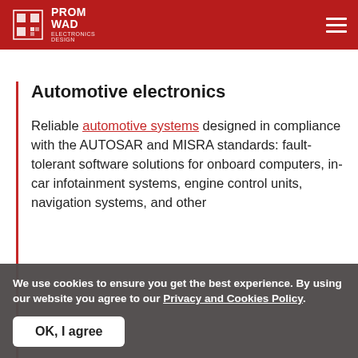PROMWAD ELECTRONICS DESIGN
Automotive electronics
Reliable automotive systems designed in compliance with the AUTOSAR and MISRA standards: fault-tolerant software solutions for onboard computers, in-car infotainment systems, engine control units, navigation systems, and other
We use cookies to ensure you get the best experience. By using our website you agree to our Privacy and Cookies Policy.
OK, I agree